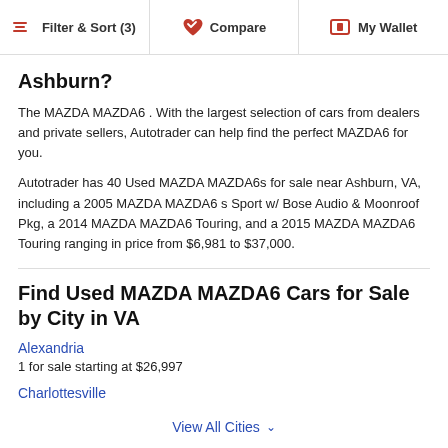Filter & Sort (3)  Compare  My Wallet
Ashburn?
The MAZDA MAZDA6 . With the largest selection of cars from dealers and private sellers, Autotrader can help find the perfect MAZDA6 for you.
Autotrader has 40 Used MAZDA MAZDA6s for sale near Ashburn, VA, including a 2005 MAZDA MAZDA6 s Sport w/ Bose Audio & Moonroof Pkg, a 2014 MAZDA MAZDA6 Touring, and a 2015 MAZDA MAZDA6 Touring ranging in price from $6,981 to $37,000.
Find Used MAZDA MAZDA6 Cars for Sale by City in VA
Alexandria
1 for sale starting at $26,997
Charlottesville
View All Cities